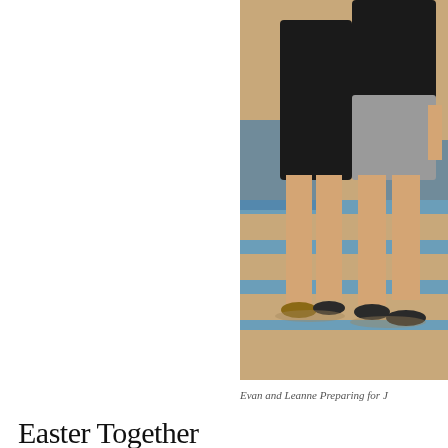[Figure (photo): Two people (Evan and Leanne) standing outdoors on sandy ground with blue painted lines, wearing black t-shirts and shorts with sandals. A blue structure or equipment is visible behind them.]
Evan and Leanne Preparing for J
Easter Together